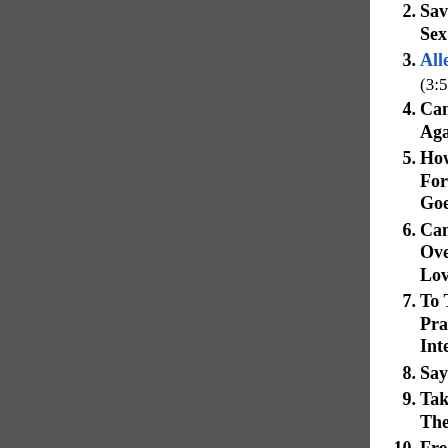2. Save Your Sex For Me
3. Allegiance (3:59) 1
4. Can We Try Again
5. How Fast Forever Goes
6. Can't Get Over Your Love
7. To Thee I Pray: Interlude
8. Say You Will
9. Take It To The Highest
10. From This Day On
11. Ronnie-O
12. Masquerade
13. Just Like A